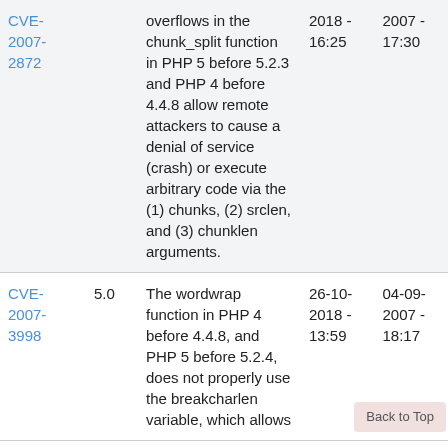| CVE | Score | Description | Date1 | Date2 |
| --- | --- | --- | --- | --- |
| CVE-2007-2872 |  | overflows in the chunk_split function in PHP 5 before 5.2.3 and PHP 4 before 4.4.8 allow remote attackers to cause a denial of service (crash) or execute arbitrary code via the (1) chunks, (2) srclen, and (3) chunklen arguments. | 2018 - 16:25 | 2007 - 17:30 |
| CVE-2007-3998 | 5.0 | The wordwrap function in PHP 4 before 4.4.8, and PHP 5 before 5.2.4, does not properly use the breakcharlen variable, which allows | 26-10-2018 - 13:59 | 04-09-2007 - 18:17 |